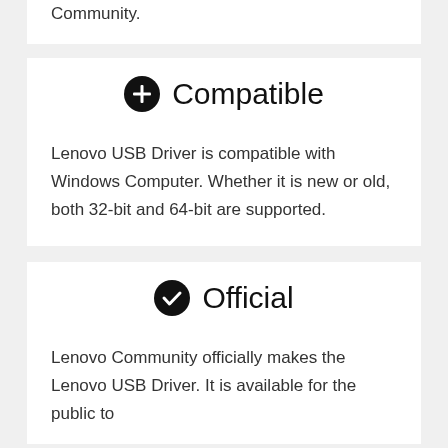Community.
Compatible
Lenovo USB Driver is compatible with Windows Computer. Whether it is new or old, both 32-bit and 64-bit are supported.
Official
Lenovo Community officially makes the Lenovo USB Driver. It is available for the public to